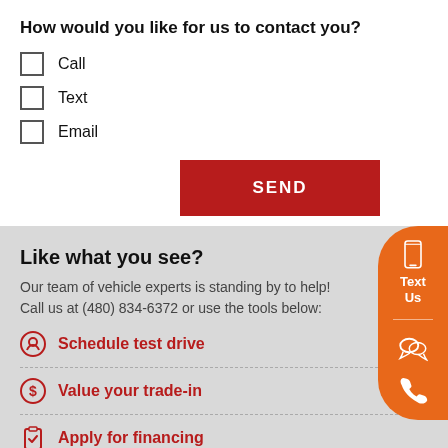How would you like for us to contact you?
Call
Text
Email
SEND
Like what you see?
Our team of vehicle experts is standing by to help! Call us at (480) 834-6372 or use the tools below:
Schedule test drive
Value your trade-in
Apply for financing